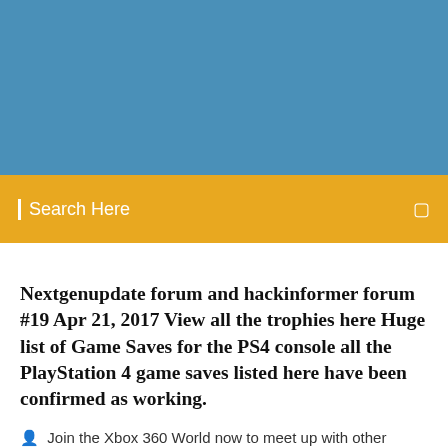[Figure (other): Blue header banner area at top of webpage]
Search Here
Nextgenupdate forum and hackinformer forum #19 Apr 21, 2017 View all the trophies here Huge list of Game Saves for the PS4 console all the PlayStation 4 game saves listed here have been confirmed as working.
Join the Xbox 360 World now to meet up with other gamers from around the globe. There's tons of hacks and walkthroughs out there, and we need them here! No matter what kind of Xbox game it